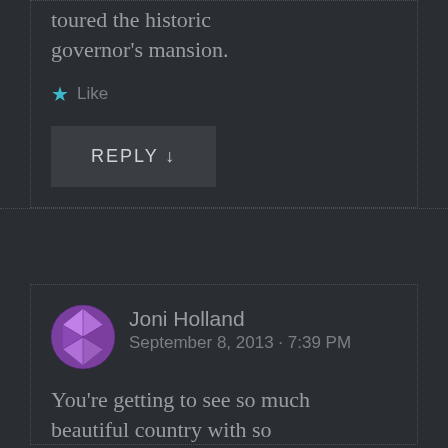downtown area and toured the historic governor's mansion.
★ Like
REPLY ↓
Joni Holland
September 8, 2013 · 7:39 PM
You're getting to see so much beautiful country with so